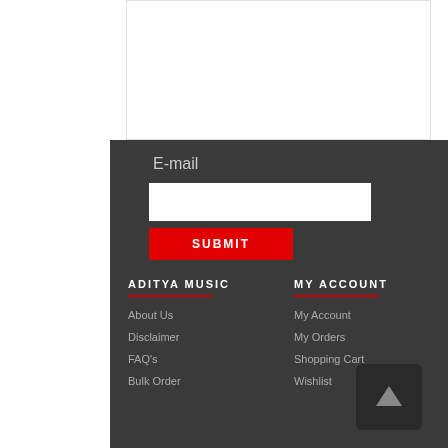[Figure (screenshot): White content box area at top of page]
E-mail
[Figure (screenshot): White email input field]
SUBMIT
ADITYA MUSIC
MY ACCOUNT
About Us
My Account
Disclaimer
My Orders
FAQ's
Shopping Cart
Bulk Order
Wishlist